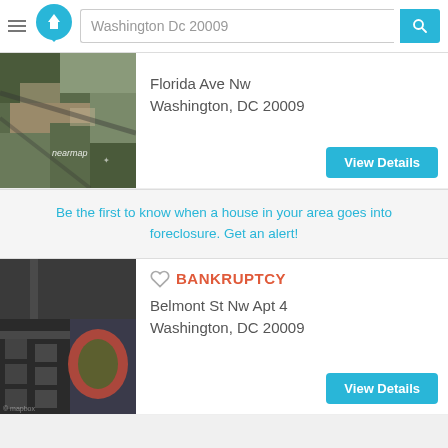Washington Dc 20009
[Figure (photo): Aerial/satellite image of Florida Ave NW area in Washington DC, with nearmap watermark]
Florida Ave Nw
Washington, DC 20009
View Details
Be the first to know when a house in your area goes into foreclosure. Get an alert!
[Figure (photo): Aerial/satellite image of Belmont St NW area in Washington DC showing a circular stadium/track]
BANKRUPTCY
Belmont St Nw Apt 4
Washington, DC 20009
View Details